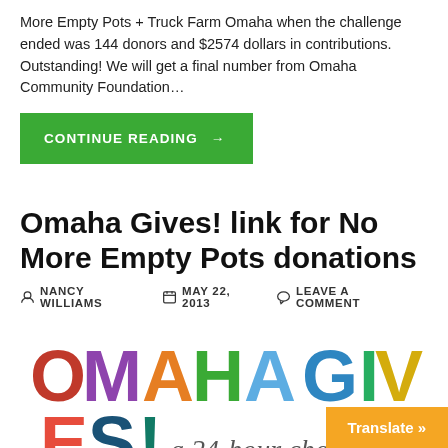More Empty Pots + Truck Farm Omaha when the challenge ended was 144 donors and $2574 dollars in contributions. Outstanding! We will get a final number from Omaha Community Foundation...
CONTINUE READING →
Omaha Gives! link for No More Empty Pots donations
NANCY WILLIAMS   MAY 22, 2013   LEAVE A COMMENT
[Figure (logo): Omaha Gives! a 24-hour charitable challenge logo with colorful letters]
Omaha Gives! is underway. Our first donation was McQueen Show of the Union for Contemporary Ar